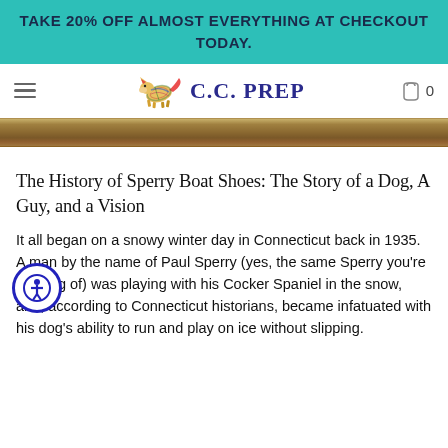TAKE 20% OFF ALMOST EVERYTHING AT CHECKOUT TODAY.
[Figure (logo): C.C. Prep logo with colorful fox and navy text, hamburger menu icon, and shopping cart icon with 0]
[Figure (photo): Narrow strip of wooden dock or plank texture in brown tones]
The History of Sperry Boat Shoes: The Story of a Dog, A Guy, and a Vision
It all began on a snowy winter day in Connecticut back in 1935. A [man] by the name of Paul Sperry (yes, the same Sperry you're [thinking] of) was playing with his Cocker Spaniel in the snow, and, according to Connecticut historians, became infatuated with his dog's ability to run and play on ice without slipping.